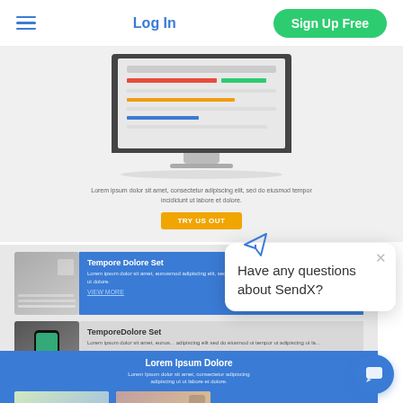Log In | Sign Up Free
[Figure (screenshot): Screenshot of a website showing a monitor with a dashboard interface, a hero text section with lorem ipsum, and a yellow CTA button labeled TRY US OUT]
[Figure (screenshot): Card with keyboard image and blue background: Tempore Dolore Set with lorem ipsum text and VIEW MORE link]
[Figure (screenshot): Card with smartphone image and gray background: TemporeDolore Set with lorem ipsum text and VIEW MORE link]
[Figure (screenshot): Blue section with Lorem Ipsum Dolore heading, subtitle text, and two project cards with images labeled Project Name]
[Figure (screenshot): Chat popup overlay with paper airplane icon, close X button, and text: Have any questions about SendX? with blue chat bubble button]
Have any questions about SendX?